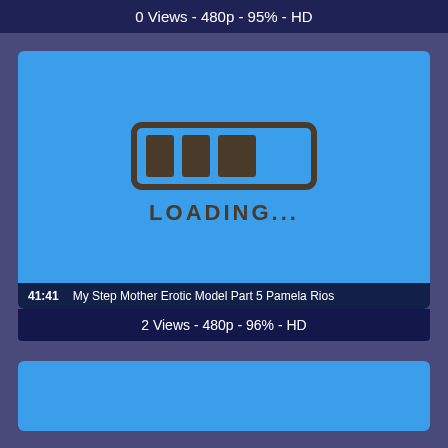0 Views - 480p - 95% - HD
[Figure (screenshot): Blue video thumbnail with a hand-drawn loading bar icon and 'LOADING...' text in dark gray, on a bright blue background. Overlay at bottom shows timestamp 41:41 and title 'My Step Mother Erotic Model Part 5 Pamela Rios'.]
2 Views - 480p - 96% - HD
[Figure (screenshot): Partially visible blue video thumbnail at bottom of page.]